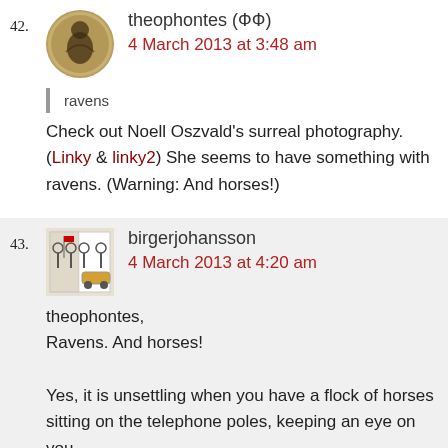42. theophontes (/*/*) — 4 March 2013 at 3:48 am
ravens
Check out Noell Oszvald’s surreal photography. (Linky & linky2) She seems to have something with ravens. (Warning: And horses!)
43. birgerjohansson — 4 March 2013 at 4:20 am
theophontes,
Ravens. And horses!
Yes, it is unsettling when you have a flock of horses sitting on the telephone poles, keeping an eye on you.